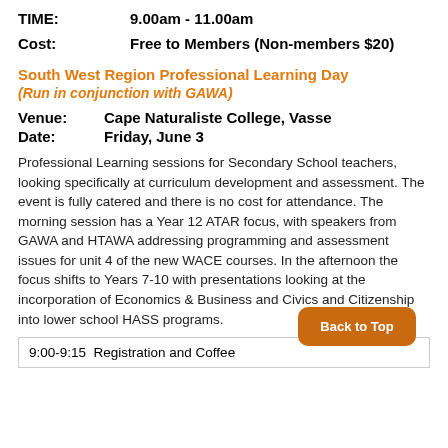TIME: 9.00am - 11.00am
Cost: Free to Members (Non-members $20)
South West Region Professional Learning Day
(Run in conjunction with GAWA)
Venue: Cape Naturaliste College, Vasse
Date: Friday, June 3
Professional Learning sessions for Secondary School teachers, looking specifically at curriculum development and assessment. The event is fully catered and there is no cost for attendance. The morning session has a Year 12 ATAR focus, with speakers from GAWA and HTAWA addressing programming and assessment issues for unit 4 of the new WACE courses. In the afternoon the focus shifts to Years 7-10 with presentations looking at the incorporation of Economics & Business and Civics and Citizenship into lower school HASS programs.
| 9:00-9:15  Registration and Coffee |